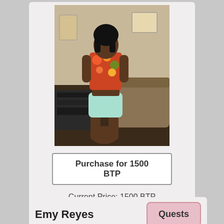[Figure (photo): A woman in a floral top and light blue shorts posing indoors]
Purchase for 1500 BTP
Current Price: 1500 BTP
Views Last 24 Hours: 0
Views Last Week: 1
Views Last Month: 1
Emy Reyes
Quests